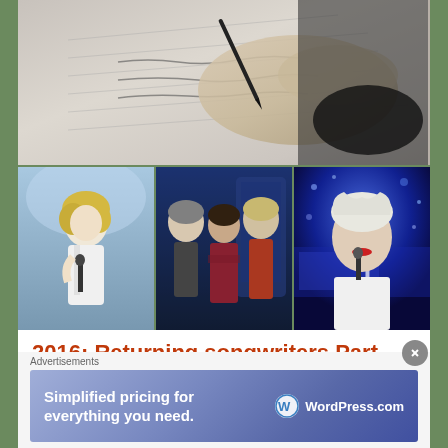[Figure (photo): Black and white photo of a hand holding a pen writing on lined paper/notebook]
[Figure (photo): Three side-by-side photos: left shows a blonde woman singing into a microphone on stage in a white outfit; center shows three people (two men and a woman) talking in what appears to be a TV studio set with blue lighting; right shows a woman with short blonde hair singing into a microphone in a blue-lit setting]
2016: Returning songwriters Part Four
BY JOHN STANTON ON MARCH 29, 2016 • ( 1
Advertisements
[Figure (screenshot): WordPress.com advertisement banner: 'Simplified pricing for everything you need.' with WordPress.com logo on blue/purple gradient background]